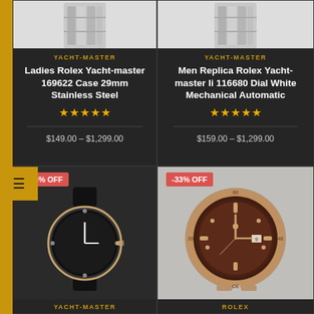[Figure (photo): Top portion of a stainless steel watch bracelet on white/light gray background, left product card]
[Figure (photo): Top portion of a stainless steel watch bracelet on white/light gray background, right product card]
YACHT-MASTER
Ladies Rolex Yacht-master 169622 Case 29mm Stainless Steel
★★★★★
$149.00 – $1,299.00
YACHT-MASTER
Men Replica Rolex Yacht-master Ii 116680 Dial White Mechanical Automatic
★★★★★
$159.00 – $1,299.00
[Figure (photo): Black Rolex Yacht-Master watch with black rubber strap and rose gold case, -33% OFF badge]
[Figure (photo): Rolex Yacht-Master with brown dial, rose gold and stainless steel two-tone bracelet, -33% OFF badge]
YACHT-MASTER
ROLEX